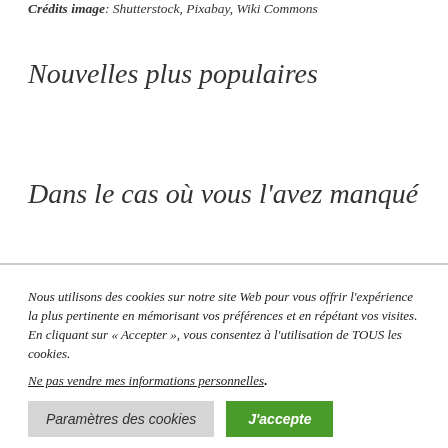Crédits image: Shutterstock, Pixabay, Wiki Commons
Nouvelles plus populaires
Dans le cas où vous l'avez manqué
Nous utilisons des cookies sur notre site Web pour vous offrir l'expérience la plus pertinente en mémorisant vos préférences et en répétant vos visites. En cliquant sur « Accepter », vous consentez à l'utilisation de TOUS les cookies.
Ne pas vendre mes informations personnelles.